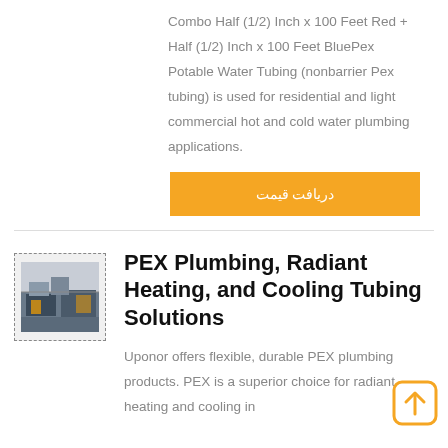Combo Half (1/2) Inch x 100 Feet Red + Half (1/2) Inch x 100 Feet BluePex Potable Water Tubing (nonbarrier Pex tubing) is used for residential and light commercial hot and cold water plumbing applications.
[Figure (other): Orange button with Arabic text 'دریافت قیمت' (Receive Price)]
[Figure (photo): Small thumbnail photo of an industrial/factory interior with machinery, shown inside a dashed border frame]
PEX Plumbing, Radiant Heating, and Cooling Tubing Solutions
Uponor offers flexible, durable PEX plumbing products. PEX is a superior choice for radiant heating and cooling in